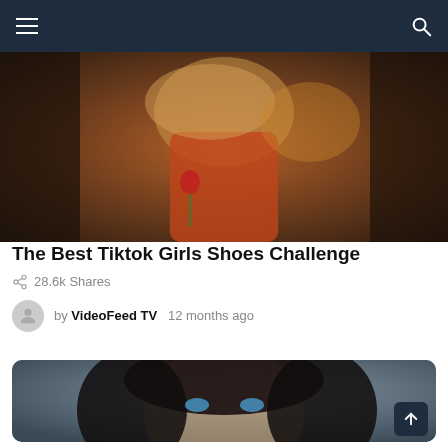≡  🔍
[Figure (photo): Woman in red dress holding a rose, back view with flowing blonde hair]
The Best Tiktok Girls Shoes Challenge
28.6k Shares
by VideoFeed TV  12 months ago
[Figure (photo): Close-up of woman with dark curly hair and blue eyes]